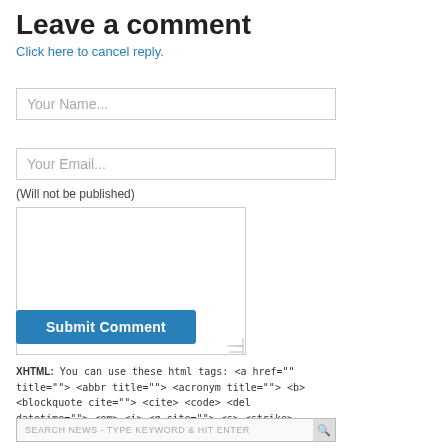Leave a comment
Click here to cancel reply.
Your Name...
Your Email...
(Will not be published)
XHTML: You can use these html tags: <a href="" title=""> <abbr title=""> <acronym title=""> <b> <blockquote cite=""> <cite> <code> <del datetime=""> <em> <i> <q cite=""> <s> <strike> <strong>
Submit Comment
SEARCH NEWS - TYPE KEYWORD & HIT ENTER